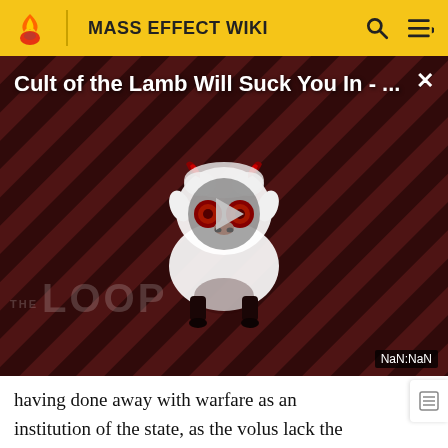MASS EFFECT WIKI
[Figure (screenshot): Video thumbnail for 'Cult of the Lamb Will Suck You In - ...' showing a cartoon devil lamb character on a dark red diagonal-striped background with a play button overlay and 'THE LOOP' watermark. Time display shows NaN:NaN.]
having done away with warfare as an institution of the state, as the volus lack the romantic view of war found the galaxy's more aggressive species. Physical skirmishes between groups rarely last long, and are almost always ended by social castigation, bargaining